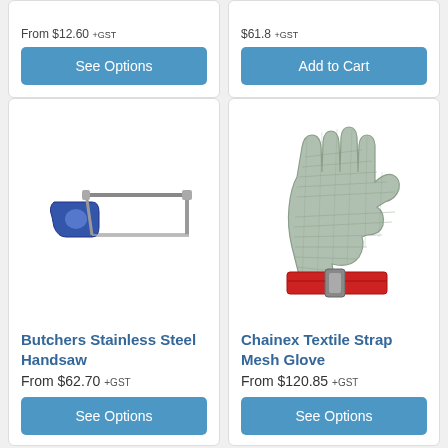[Figure (other): Top-left product card partially visible — shows price 'From $12.60 +GST' cut off and a 'See Options' button]
From $12.60 +GST
See Options
[Figure (other): Top-right product card partially visible — shows price '$61.8 +GST' cut off and an 'Add to Cart' button]
$61.8 +GST
Add to Cart
[Figure (photo): Butchers stainless steel handsaw with blue handle on white background]
Butchers Stainless Steel Handsaw
From $62.70 +GST
See Options
[Figure (photo): Chainex textile strap mesh glove — silver chainmail glove with red textile strap cuff]
Chainex Textile Strap Mesh Glove
From $120.85 +GST
See Options